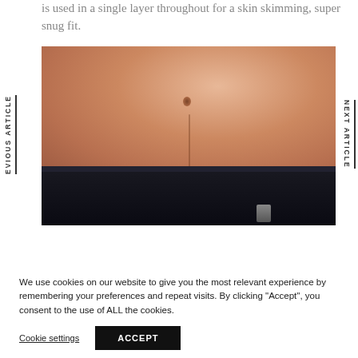is used in a single layer throughout for a skin skimming, super snug fit.
[Figure (photo): Close-up photo of a person's torso wearing black leather shorts/briefs with a zipper, showing bare skin from the hips up]
EVIOUS ARTICLE
NEXT ARTICLE
We use cookies on our website to give you the most relevant experience by remembering your preferences and repeat visits. By clicking “Accept”, you consent to the use of ALL the cookies.
Cookie settings
ACCEPT